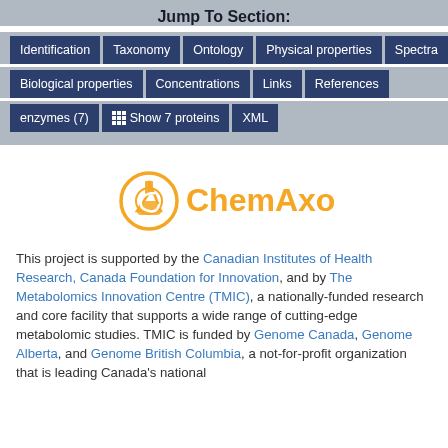Jump To Section:
Identification | Taxonomy | Ontology | Physical properties | Spectra
Biological properties | Concentrations | Links | References
enzymes (7) | Show 7 proteins | XML
[Figure (logo): ChemAxon logo with orange flask icon and orange text 'ChemAxon']
This project is supported by the Canadian Institutes of Health Research, Canada Foundation for Innovation, and by The Metabolomics Innovation Centre (TMIC), a nationally-funded research and core facility that supports a wide range of cutting-edge metabolomic studies. TMIC is funded by Genome Canada, Genome Alberta, and Genome British Columbia, a not-for-profit organization that is leading Canada's national